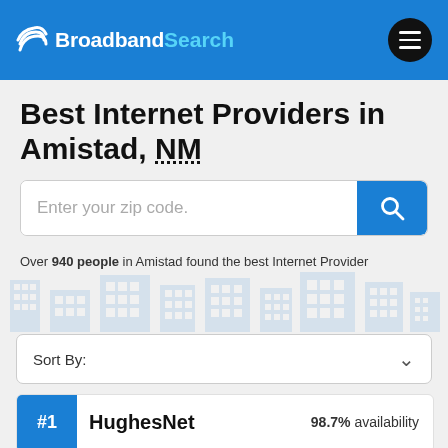Broadband Search
Best Internet Providers in Amistad, NM
[Figure (other): Zip code search input field with blue search button]
Over 940 people in Amistad found the best Internet Provider with BroadbandSearch.
Sort By:
#1 HughesNet 98.7% availability
[Figure (logo): HughesNet logo in teal/cyan color]